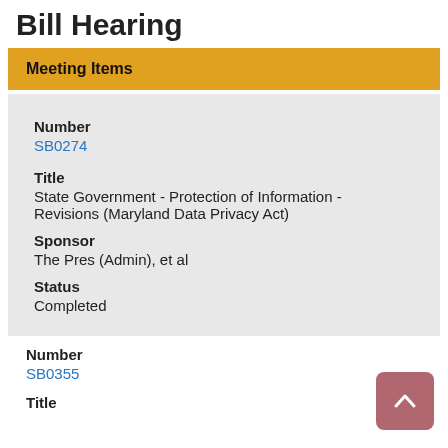Bill Hearing
Meeting Items
Number
SB0274
Title
State Government - Protection of Information - Revisions (Maryland Data Privacy Act)
Sponsor
The Pres (Admin), et al
Status
Completed
Number
SB0355
Title